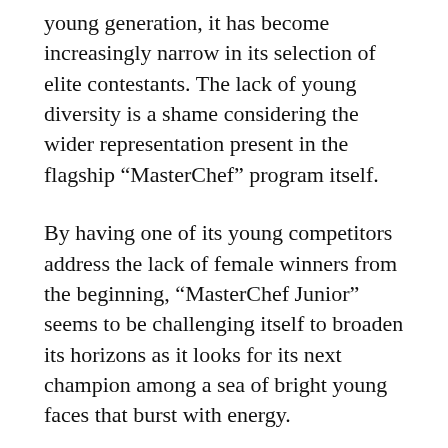young generation, it has become increasingly narrow in its selection of elite contestants. The lack of young diversity is a shame considering the wider representation present in the flagship “MasterChef” program itself.
By having one of its young competitors address the lack of female winners from the beginning, “MasterChef Junior” seems to be challenging itself to broaden its horizons as it looks for its next champion among a sea of bright young faces that burst with energy.
It’s this enthusiasm and wonder that carry “MasterChef Junior.” Representation and